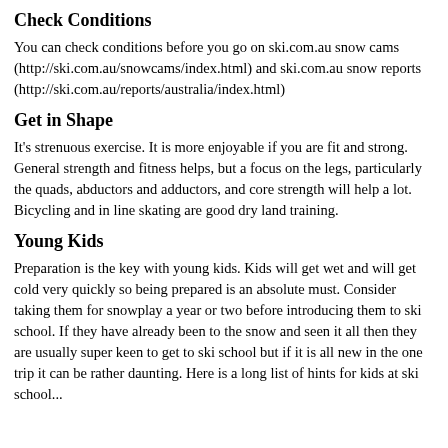Check Conditions
You can check conditions before you go on ski.com.au snow cams (http://ski.com.au/snowcams/index.html) and ski.com.au snow reports (http://ski.com.au/reports/australia/index.html)
Get in Shape
It's strenuous exercise. It is more enjoyable if you are fit and strong. General strength and fitness helps, but a focus on the legs, particularly the quads, abductors and adductors, and core strength will help a lot. Bicycling and in line skating are good dry land training.
Young Kids
Preparation is the key with young kids. Kids will get wet and will get cold very quickly so being prepared is an absolute must. Consider taking them for snowplay a year or two before introducing them to ski school. If they have already been to the snow and seen it all then they are usually super keen to get to ski school but if it is all new in the one trip it can be rather daunting. Here is a long list of hints for kids at ski school...